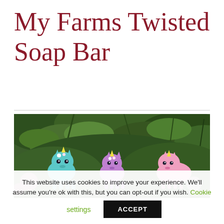My Farms Twisted Soap Bar
[Figure (photo): Three small colorful unicorn figurines (teal, purple, and pink) sitting in front of lush green foliage outdoors.]
This website uses cookies to improve your experience. We'll assume you're ok with this, but you can opt-out if you wish. Cookie settings ACCEPT